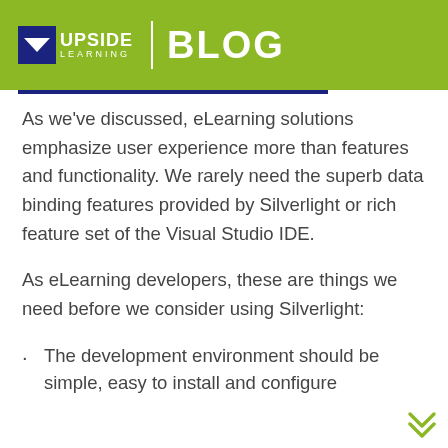UPSIDE LEARNING | BLOG
As we've discussed, eLearning solutions emphasize user experience more than features and functionality. We rarely need the superb data binding features provided by Silverlight or rich feature set of the Visual Studio IDE.
As eLearning developers, these are things we need before we consider using Silverlight:
The development environment should be simple, easy to install and configure